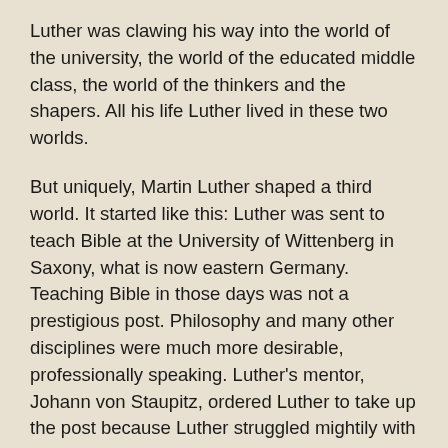Luther was clawing his way into the world of the university, the world of the educated middle class, the world of the thinkers and the shapers. All his life Luther lived in these two worlds.
But uniquely, Martin Luther shaped a third world. It started like this: Luther was sent to teach Bible at the University of Wittenberg in Saxony, what is now eastern Germany. Teaching Bible in those days was not a prestigious post. Philosophy and many other disciplines were much more desirable, professionally speaking. Luther's mentor, Johann von Staupitz, ordered Luther to take up the post because Luther struggled mightily with his conscience, and Staupitz wanted him to know the love of God, the grace of God, in Jesus.
It worked. Shortly after Luther came to Wittenberg, around 1515 or so, he was preparing to lecture through the New Testament book of Romans. As he prepared for these lectures, Martin struggled and struggled with the phrase, "the righteousness of God." He read this phrase throughout the book of Romans and he could not make sense of why